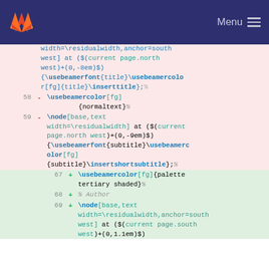[Figure (screenshot): GitLab navigation bar with logo and Menu button]
Code diff view showing removed lines 58-59 and added lines 67-69 of a LaTeX/Beamer file
width=\residualwidth,anchor=south west] at ($(current page.north west)+(0,-8em)$) {\usebeamerfont{title}\usebeamercolor[fg]{title}\inserttitle};%
58  - \usebeamercolor[fg]{normaltext}%
59  - \node[base,text width=\residualwidth] at ($(current page.north west)+(0,-9em)$) {\usebeamerfont{subtitle}\usebeamercolor[fg]{subtitle}\insertshortsubtitle};%
67  + \usebeamercolor[fg]{palette tertiary shaded}%
68  + % Author
69  + \node[base,text width=\residualwidth,anchor=south west] at ($(current page.south west)+(0,1.1em)$)